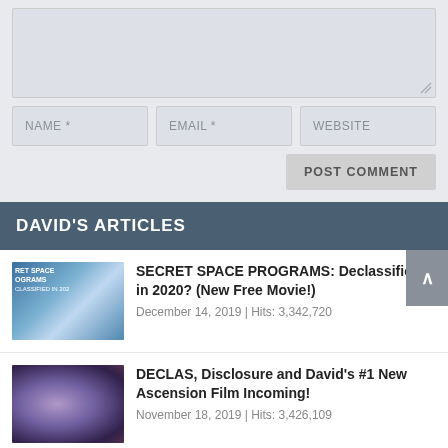[Figure (screenshot): Comment form text area (light grey, resizable)]
NAME *
EMAIL *
WEBSITE
POST COMMENT
DAVID'S ARTICLES
SECRET SPACE PROGRAMS: Declassified in 2020? (New Free Movie!) December 14, 2019 | Hits: 3,342,720
DECLAS, Disclosure and David's #1 New Ascension Film Incoming! November 18, 2019 | Hits: 3,426,109